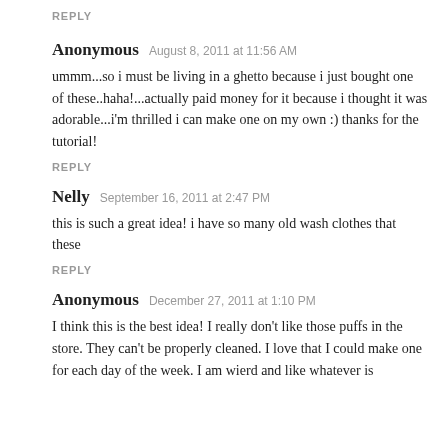REPLY
Anonymous  August 8, 2011 at 11:56 AM
ummm...so i must be living in a ghetto because i just bought one of these..haha!...actually paid money for it because i thought it was adorable...i'm thrilled i can make one on my own :) thanks for the tutorial!
REPLY
Nelly  September 16, 2011 at 2:47 PM
this is such a great idea! i have so many old wash clothes that these
REPLY
Anonymous  December 27, 2011 at 1:10 PM
I think this is the best idea! I really don't like those puffs in the store. They can't be properly cleaned. I love that I could make one for each day of the week. I am wierd and like whatever is